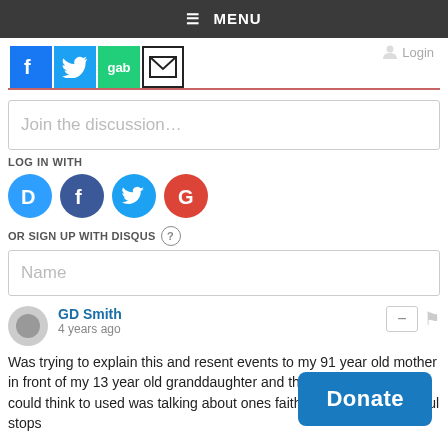☰ MENU
[Figure (other): Social share icons: Facebook (blue), Twitter (light blue), Gab (green), Email/envelope (black border)]
Join the discussion…
LOG IN WITH
[Figure (other): Login circle icons: Disqus (D, blue), Facebook (f, dark blue), Twitter (bird, light blue), Google (G, red)]
OR SIGN UP WITH DISQUS ?
Name
GD Smith
4 years ago
Was trying to explain this and resent events to my 91 year old mother in front of my 13 year old granddaughter and the only aproate word i could think to used was talking about ones faith and church one shoul stops